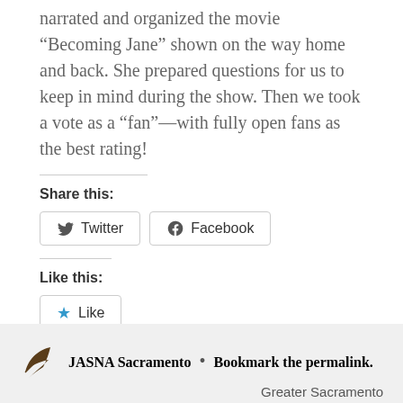narrated and organized the movie “Becoming Jane” shown on the way home and back. She prepared questions for us to keep in mind during the show. Then we took a vote as a “fan”—with fully open fans as the best rating!
Share this:
Twitter
Facebook
Like this:
Like
Be the first to like this.
JASNA Sacramento • Bookmark the permalink.
Greater Sacramento